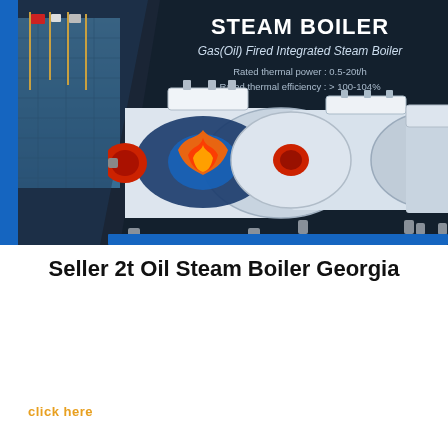[Figure (photo): Steam boiler product banner with dark navy background showing three industrial gas/oil fired steam boilers, a building with flags on the left, and product text overlay including STEAM BOILER title, Gas(Oil) Fired Integrated Steam Boiler subtitle, rated thermal power 0.5-20t/h and rated thermal efficiency >100-104%]
Seller 2t Oil Steam Boiler Georgia
[Figure (logo): WhatsApp button - green rounded rectangle with WhatsApp phone icon and text WhatsApp]
click here